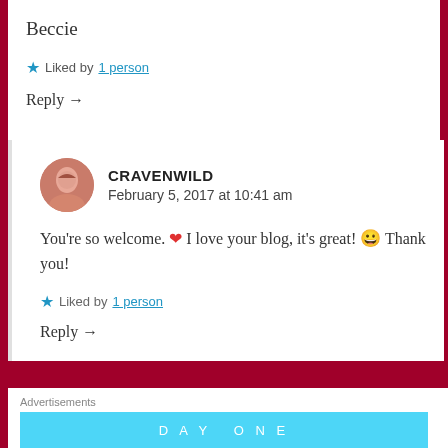Beccie
★ Liked by 1 person
Reply →
CRAVENWILD
February 5, 2017 at 10:41 am
You're so welcome. ❤ I love your blog, it's great! 😀 Thank you!
★ Liked by 1 person
Reply →
Advertisements
[Figure (other): Day One advertisement banner in cyan/blue color]